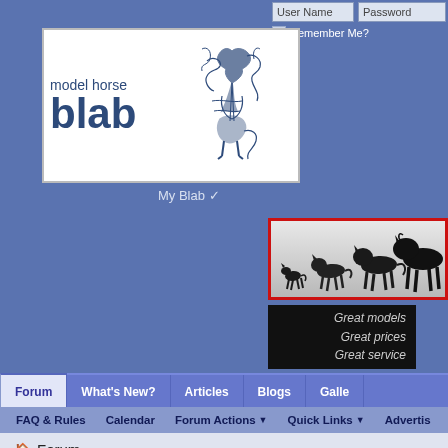[Figure (screenshot): Model Horse Blab website screenshot showing login area, site logo, horse photo banner, advertisement, navigation tabs, and forum breadcrumb]
User Name
Password
Remember Me?
[Figure (logo): Model Horse Blab logo with decorative horse illustration, text reading 'model horse blab']
My Blab
[Figure (photo): Black and white photo banner of horses in different sizes walking in a line, framed with red border]
[Figure (infographic): Dark advertisement banner with italic text: Great models, Great prices, Great service]
Great models
Great prices
Great service
Forum | What's New? | Articles | Blogs | Galle...
FAQ & Rules   Calendar   Forum Actions ▼   Quick Links ▼   Advertis...
🏠 Forum